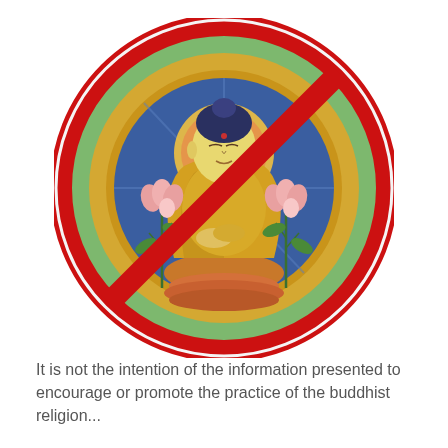[Figure (illustration): A Tibetan Buddhist thangka-style illustration of a seated Buddha figure in golden robes with a blue halo and green outer aura, flanked by pink lotus flowers on stems, sitting on an orange lotus pedestal. Over the entire circular illustration is a large red prohibition/no symbol (circle with diagonal line through it), indicating the image is not to be used or promoted.]
It is not the intention of the information presented to encourage or promote the practice of the buddhist religion...